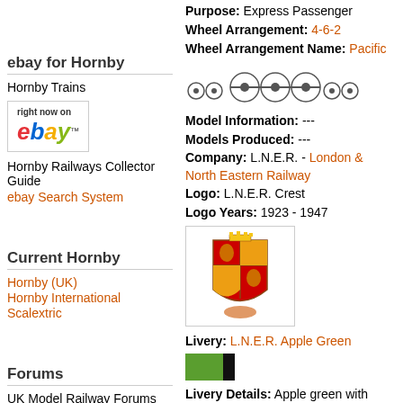ebay for Hornby
Hornby Trains
[Figure (logo): eBay logo with 'right now on' text above it]
Hornby Railways Collector Guide
ebay Search System
Current Hornby
Hornby (UK)
Hornby International
Scalextric
Forums
UK Model Railway Forums
Model Rail Forum
Official Hornby Forum
Purpose: Express Passenger
Wheel Arrangement: 4-6-2
Wheel Arrangement Name: Pacific
[Figure (schematic): 4-6-2 wheel arrangement diagram showing small wheels and large driving wheels]
Model Information: ---
Models Produced: ---
Company: L.N.E.R. - London & North Eastern Railway
Logo: L.N.E.R. Crest
Logo Years: 1923 - 1947
[Figure (illustration): L.N.E.R. Crest heraldic emblem with shield and figures]
Livery: L.N.E.R. Apple Green
[Figure (illustration): Livery color swatch showing apple green with black stripe]
Livery Details: Apple green with black and white lining and gold lettering.
Company Information: The second biggest of Britains post grouping railway companies formed in 1923. Some very famous locomotives were designed and operated by the L.N.E.R. including the Flying Scotsman and the Mallard.